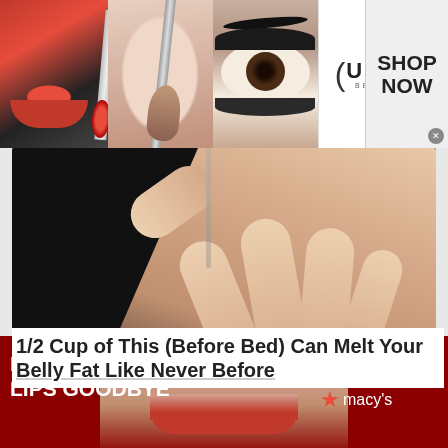[Figure (photo): Top banner advertisement for ULTA Beauty showing panels: red lips with lipstick brush, makeup brush against skin, dramatic eye with dark makeup, ULTA Beauty logo in circle parenthesis, face with smoky eye makeup. Right side shows 'SHOP NOW' call to action button.]
[Figure (photo): Article main image: hands holding open a coffee filter basket filled with coffee grounds, against a dark black background. A hand with fingers spread is shown placing or removing coffee from a cone-shaped paper filter nested in a black filter basket.]
1/2 Cup of This (Before Bed) Can Melt Your Belly Fat Like Never Before
[Figure (photo): Bottom banner advertisement for Macy's showing a woman's face with bold red lips against a dark red background. Left text says 'KISS BORING LIPS GOODBYE'. Right side has a 'SHOP NOW' button outlined in white, and the Macy's star logo in red/white.]